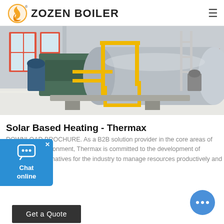ZOZEN BOILER
[Figure (photo): Industrial boiler equipment (gas-fired horizontal steam boiler) in a factory floor setting. The boiler is metallic/silver cylindrical tank with yellow pipe fittings and a blue/teal burner unit on the left. White tiled floor and red-framed windows visible in background.]
Solar Based Heating - Thermax
DOWNLOAD BROCHURE. As a B2B solution provider in the core areas of energy and environment, Thermax is committed to the development of sustainable alternatives for the industry to manage resources productively and without waste.
Get a Quote